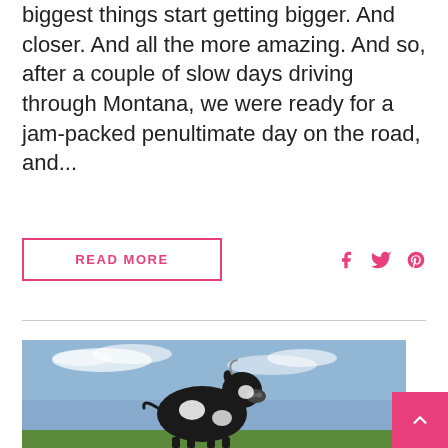biggest things start getting bigger. And closer. And all the more amazing. And so, after a couple of slow days driving through Montana, we were ready for a jam-packed penultimate day on the road, and...
READ MORE
[Figure (photo): A large black and white cow statue against a blue sky background with some green grass at the base.]